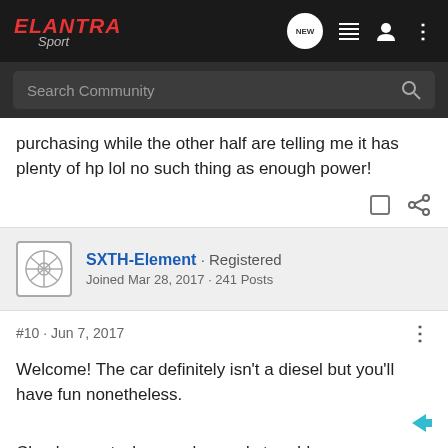ELANTRA Sport
purchasing while the other half are telling me it has plenty of hp lol no such thing as enough power!
SXTH-Element · Registered
Joined Mar 28, 2017 · 241 Posts
#10 · Jun 7, 2017
Welcome! The car definitely isn't a diesel but you'll have fun nonetheless.
Check us out when you're ready to add some performance and let me know if you have any questions.